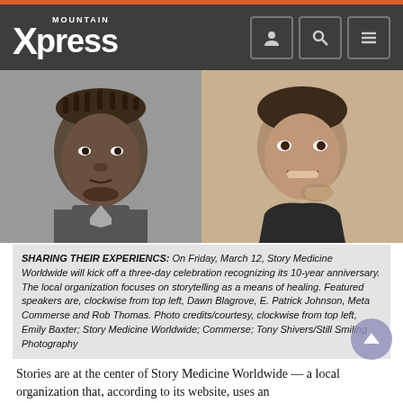Mountain Xpress
[Figure (photo): Two black-and-white portrait photos side by side: left photo is a young man with braided hair; right photo is a smiling woman with short curly hair, hand on chin.]
SHARING THEIR EXPERIENCS: On Friday, March 12, Story Medicine Worldwide will kick off a three-day celebration recognizing its 10-year anniversary. The local organization focuses on storytelling as a means of healing. Featured speakers are, clockwise from top left, Dawn Blagrove, E. Patrick Johnson, Meta Commerse and Rob Thomas. Photo credits/courtesy, clockwise from top left, Emily Baxter; Story Medicine Worldwide; Commerse; Tony Shivers/Still Smiling Photography
Stories are at the center of Story Medicine Worldwide — a local organization that, according to its website, uses an